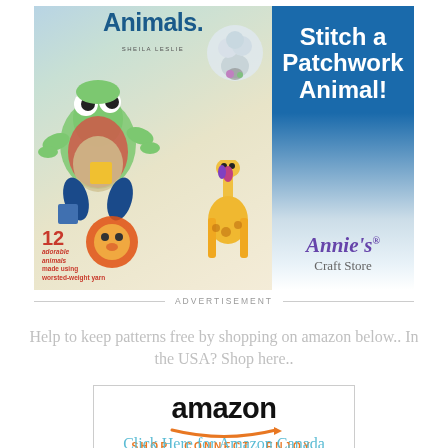[Figure (illustration): Advertisement for Annie's Craft Store book about crocheted patchwork animals. Left side shows book cover with crocheted frog, giraffe, lion, and sheep with text '12 adorable animals made using worsted-weight yarn' and 'Animals' title. Right side shows blue panel with white text 'Stitch a Patchwork Animal!' and Annie's Craft Store logo.]
ADVERTISEMENT
Help to keep patterns free by shopping on amazon below.. In the USA? Shop here..
[Figure (logo): Amazon logo with text 'amazon', orange arrow swoosh, and tagline 'SHOP. CONNECT. ENJOY.' in orange letters, inside a bordered box.]
Click Here for Amazon Canada